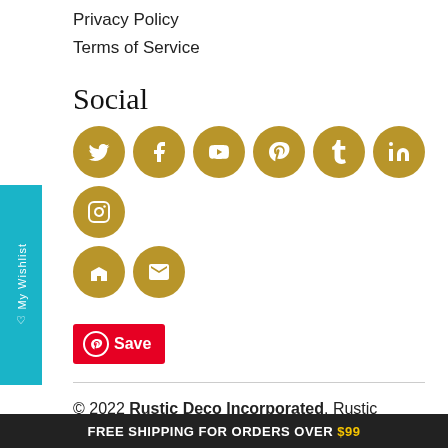Privacy Policy
Terms of Service
Social
[Figure (infographic): Social media icons: Twitter, Facebook, YouTube, Pinterest, Tumblr, LinkedIn, Instagram, Houzz, Email — gold circles with white icons]
[Figure (infographic): Pinterest Save button — red with Pinterest logo]
© 2022 Rustic Deco Incorporated. Rustic Deco® is a registered trademark of Rustic Deco Incorporated.
Powered by Shopify
[Figure (infographic): Payment method badges: Amazon, Amex, Apple Pay, and Discover]
FREE SHIPPING FOR ORDERS OVER $99